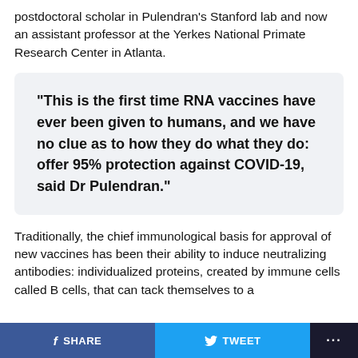postdoctoral scholar in Pulendran's Stanford lab and now an assistant professor at the Yerkes National Primate Research Center in Atlanta.
“This is the first time RNA vaccines have ever been given to humans, and we have no clue as to how they do what they do: offer 95% protection against COVID-19, said Dr Pulendran.”
Traditionally, the chief immunological basis for approval of new vaccines has been their ability to induce neutralizing antibodies: individualized proteins, created by immune cells called B cells, that can tack themselves to a
SHARE  TWEET  ...